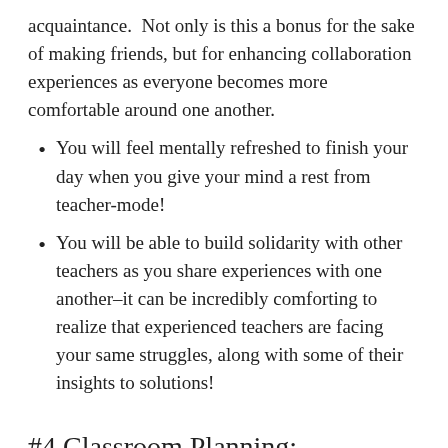acquaintance.  Not only is this a bonus for the sake of making friends, but for enhancing collaboration experiences as everyone becomes more comfortable around one another.
You will feel mentally refreshed to finish your day when you give your mind a rest from teacher-mode!
You will be able to build solidarity with other teachers as you share experiences with one another–it can be incredibly comforting to realize that experienced teachers are facing your same struggles, along with some of their insights to solutions!
#4 Classroom Planning: Recognize What's Fluid and Solid!
Lorem ipsum cut off text...